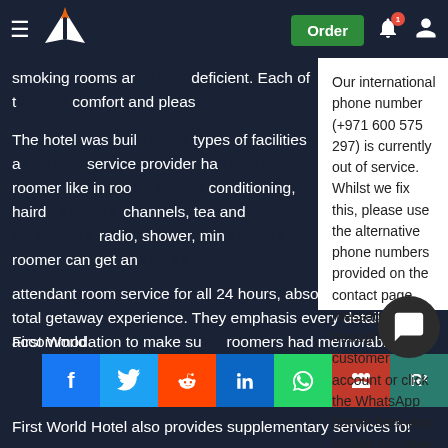Navigation bar with hamburger menu, logo, Order button, bell notification, and user icon
smoking rooms ar... deficient. Each of t... comfort and pleas...
The hotel was buil... types of facilities a... service provider ha... roomer like in roo... conditioning, haird... channels, tea and ... radio, shower, min... roomer can get an... attendant room service for all 24 hours, absolute privacy and total getaway experience. They emphasis every detail in accommodation to make sure roomers had memorable experience and enjoy with th...
Our international phone number (+971 600 575 297) is currently out of service. Whilst we fix this, please use the alternative phone numbers provided on the contact page, message through your customer account or click the WhatsApp button from your mobile (Monday – Friday 9am – 5pm, Saturday 10am – 6pm UK time).
August 20, 2022
First World Hotel
First World Hotel also provides supplementary services for